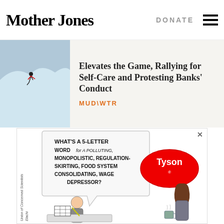Mother Jones
DONATE
Elevates the Game, Rallying for Self-Care and Protesting Banks' Conduct
MUD\WTR
[Figure (illustration): Cartoon illustration: A person doing a crossword puzzle asks 'What's a 5-letter word for a polluting, monopolistic, regulation-skirting, food system consolidating, wage depressor?' A woman holding a mug responds with a speech bubble showing the Tyson logo. Side text reads 'Union of Concerned Scientists'. Signed by Bojack/Elachi.]